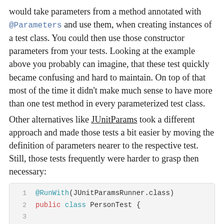would take parameters from a method annotated with @Parameters and use them, when creating instances of a test class. You could then use those constructor parameters from your tests. Looking at the example above you probably can imagine, that these test quickly became confusing and hard to maintain. On top of that most of the time it didn't make much sense to have more than one test method in every parameterized test class.
Other alternatives like JUnitParams took a different approach and made those tests a bit easier by moving the definition of parameters nearer to the respective test. Still, those tests frequently were harder to grasp then necessary:
[Figure (screenshot): Code block showing lines 1-5 of a Java test class using JUnitParamsRunner. Line 1: @RunWith(JUnitParamsRunner.class), Line 2: public class PersonTest {, Line 3: (empty), Line 4: @Test, Line 5: @Parameters({"0, 0", "1, 1", "2, 1", "3, 2" })]